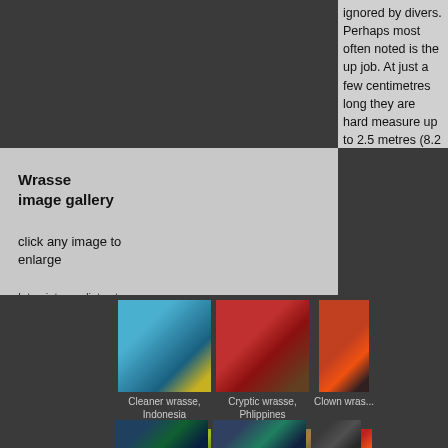ignored by divers. Perhaps most often noted is the up job. At just a few centimetres long they are hard measure up to 2.5 metres (8.2 ft).
All wrassses are carnivores and feed on a wide range and, of course, many larger fish feed on them. Surp removal of parasites and dead tissue is seen as a b below.
Wrasse image gallery
click any image to enlarge
Int. = intermediate stage
Juv.= juvenile
[Figure (photo): Cleaner wrasse, Indonesia - striped fish on blue background]
Cleaner wrasse, Indonesia
[Figure (photo): Cryptic wrasse, Philippines - red fish on coral]
Cryptic wrasse, Phlippines
[Figure (photo): Clown wrasse - partial image]
Clown wras...
[Figure (photo): Broomtail wrasse, Jordan - green and black fish]
Broomtail wrasse, Jordan
[Figure (photo): Mental wrasse, Jordan - elongated fish on coral]
Mental wrasse, Jordan
[Figure (photo): Lyretail wrasse, Jordan - partial image red fish]
Lyretail Jor...
[Figure (photo): Bottom row first fish - partial]
[Figure (photo): Bottom row second fish - partial]
[Figure (photo): Bottom row third fish - partial]